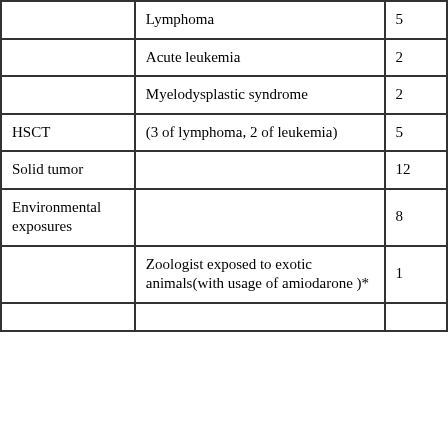|  | Lymphoma | 5 |
|  | Acute leukemia | 2 |
|  | Myelodysplastic syndrome | 2 |
| HSCT | (3 of lymphoma, 2 of leukemia) | 5 |
| Solid tumor |  | 12 |
| Environmental exposures |  | 8 |
|  | Zoologist exposed to exotic animals(with usage of amiodarone )* | 1 |
|  |  |  |